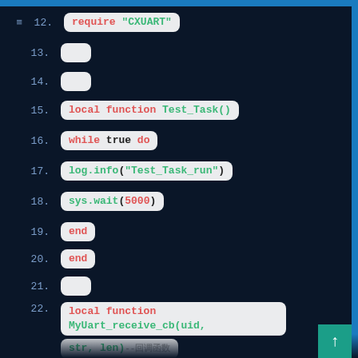[Figure (screenshot): Code editor screenshot showing Lua source code with line numbers 12-29 on a dark navy background. Lines show: require 'CXUART', local function Test_Task(), while true do, log.info('Test_Task_run'), sys.wait(5000), end (x2), local function MyUart_receive_cb(uid, str, len), log.info lines, CXUART.Uart_Sent call, end, local function user_main(), sys.taskInit(Test_Task)]